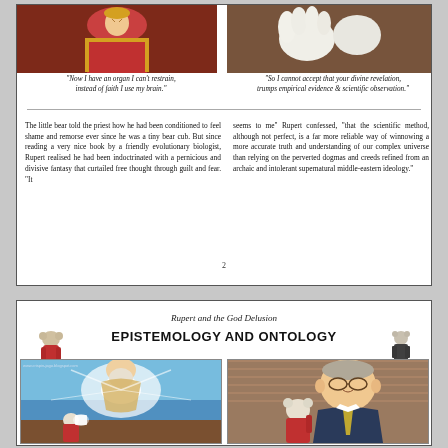[Figure (illustration): Comic panel showing a red-robed figure, top-left of first page box]
[Figure (illustration): Comic panel showing white-gloved hands, top-right of first page box]
"Now I have an organ I can't restrain, instead of faith I use my brain."
"So I cannot accept that your divine revelation, trumps empirical evidence & scientific observation."
The little bear told the priest how he had been conditioned to feel shame and remorse ever since he was a tiny bear cub. But since reading a very nice book by a friendly evolutionary biologist, Rupert realised he had been indoctrinated with a pernicious and divisive fantasy that curtailed free thought through guilt and fear. "It
seems to me" Rupert confessed, "that the scientific method, although not perfect, is a far more reliable way of winnowing a more accurate truth and understanding of our complex universe than relying on the perverted dogmas and creeds refined from an archaic and intolerant supernatural middle-eastern ideology."
2
Rupert and the God Delusion
EPISTEMOLOGY AND ONTOLOGY
[Figure (illustration): Comic panel showing a small bear figure with a glowing book confronted by a divine bearded figure in the sky, with blue sky background and website URL www.crispin-jago.blogspot.com]
[Figure (illustration): Comic panel showing a man in a suit (caricature) with a small bear figure]